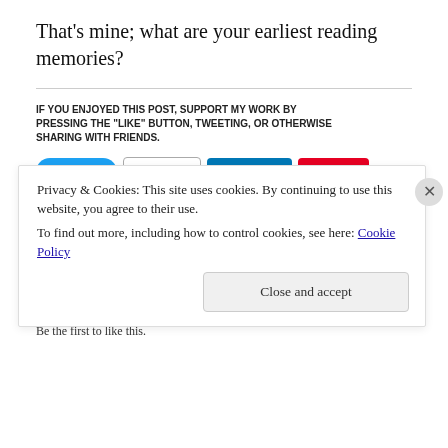That’s mine; what are your earliest reading memories?
IF YOU ENJOYED THIS POST, SUPPORT MY WORK BY PRESSING THE “LIKE” BUTTON, TWEETING, OR OTHERWISE SHARING WITH FRIENDS.
[Figure (other): Social sharing buttons: Tweet (Twitter), Email, Share (LinkedIn), Save (Pinterest), Post (Tumblr), More]
[Figure (other): Like button with star icon]
Be the first to like this.
Privacy & Cookies: This site uses cookies. By continuing to use this website, you agree to their use.
To find out more, including how to control cookies, see here: Cookie Policy